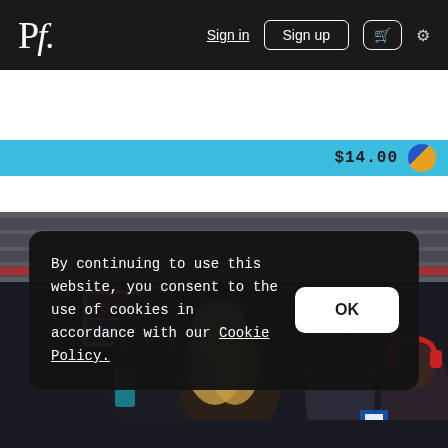Pf. navigation bar with Sign in, Sign up, cart, and settings icons
[Figure (screenshot): Price bar showing $14.00 with a blue/gold circular icon on a cyan/light blue background]
[Figure (photo): Two people kissing at a train/subway station platform. A woman with long blonde hair and a man with dark hair. An SOS sign is visible on the wall. Other commuters visible in background including a person with red headphones.]
By continuing to use this website, you consent to the use of cookies in accordance with our Cookie Policy.
OK